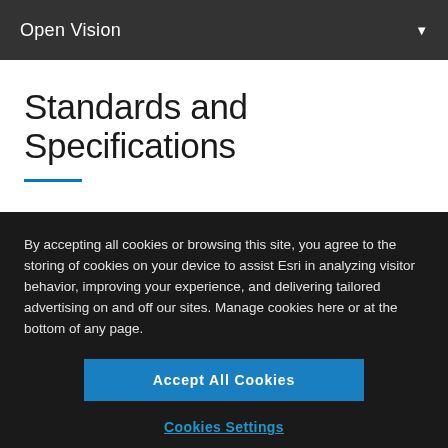Open Vision
Standards and Specifications
By accepting all cookies or browsing this site, you agree to the storing of cookies on your device to assist Esri in analyzing visitor behavior, improving your experience, and delivering tailored advertising on and off our sites. Manage cookies here or at the bottom of any page.
Accept All Cookies
Cookies Settings